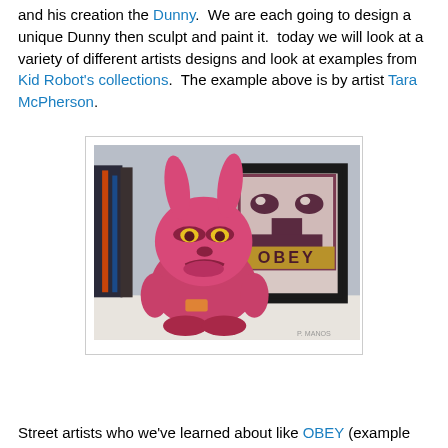and his creation the Dunny. We are each going to design a unique Dunny then sculpt and paint it. today we will look at a variety of different artists designs and look at examples from Kid Robot's collections. The example above is by artist Tara McPherson.
[Figure (photo): A pink/magenta Dunny vinyl figure with an angry face and rabbit ears, displayed in front of a framed OBEY street art poster on a shelf.]
Street artists who we've learned about like OBEY (example